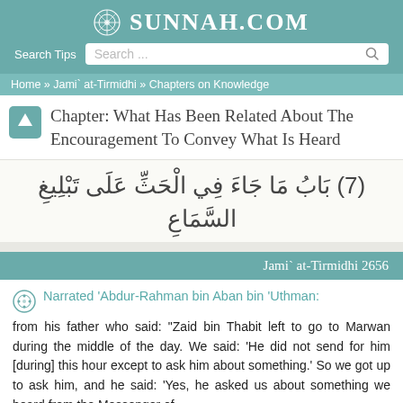SUNNAH.COM
Search Tips  Search ...
Home » Jami` at-Tirmidhi » Chapters on Knowledge
Chapter: What Has Been Related About The Encouragement To Convey What Is Heard
(7) باب مَا جَاءَ فِي الْحَثِّ عَلَى تَبْلِيغِ السَّمَاعِ
Jami` at-Tirmidhi 2656
Narrated 'Abdur-Rahman bin Aban bin 'Uthman:
from his father who said: "Zaid bin Thabit left to go to Marwan during the middle of the day. We said: 'He did not send for him [during] this hour except to ask him about something.' So we got up to ask him, and he said: 'Yes, he asked us about something we heard from the Messenger of